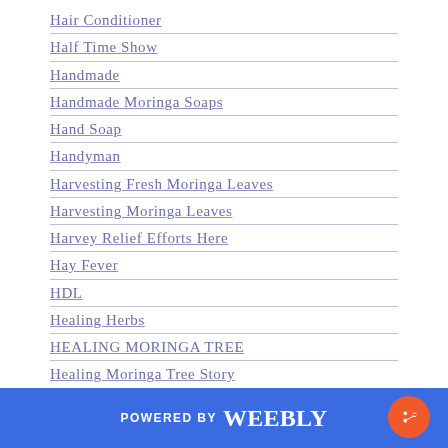Hair Conditioner
Half Time Show
Handmade
Handmade Moringa Soaps
Hand Soap
Handyman
Harvesting Fresh Moringa Leaves
Harvesting Moringa Leaves
Harvey Relief Efforts Here
Hay Fever
HDL
Healing Herbs
HEALING MORINGA TREE
Healing Moringa Tree Story
Healing Sex
Heal San Bernardino
POWERED BY weebly